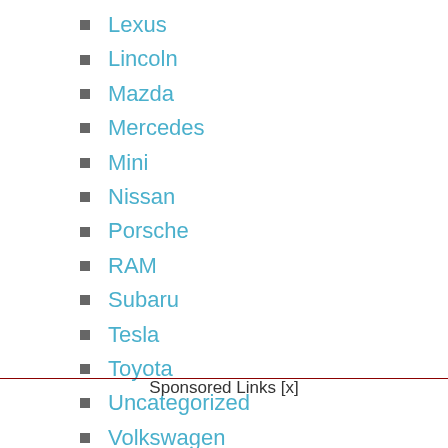Lexus
Lincoln
Mazda
Mercedes
Mini
Nissan
Porsche
RAM
Subaru
Tesla
Toyota
Uncategorized
Volkswagen
Sponsored Links [x]